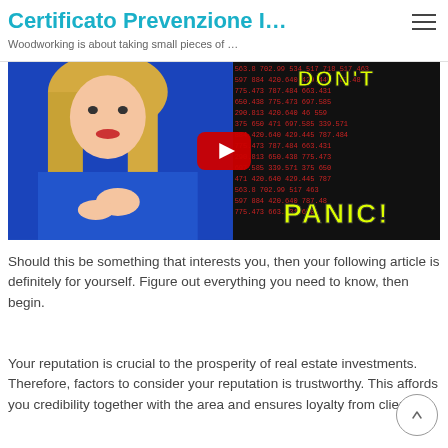Certificato Prevenzione I…
Woodworking is about taking small pieces of …
[Figure (screenshot): YouTube video thumbnail showing a blonde woman in a blue outfit on the left half, and red stock ticker numbers on the right with yellow text reading 'DON'T PANIC!' overlaid. A red YouTube play button is centered on the image.]
Should this be something that interests you, then your following article is definitely for yourself. Figure out everything you need to know, then begin.
Your reputation is crucial to the prosperity of real estate investments. Therefore, factors to consider your reputation is trustworthy. This affords you credibility together with the area and ensures loyalty from clients.